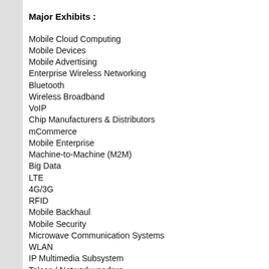Major Exhibits :
Mobile Cloud Computing
Mobile Devices
Mobile Advertising
Enterprise Wireless Networking
Bluetooth
Wireless Broadband
VoIP
Chip Manufacturers & Distributors
mCommerce
Mobile Enterprise
Machine-to-Machine (M2M)
Big Data
LTE
4G/3G
RFID
Mobile Backhaul
Mobile Security
Microwave Communication Systems
WLAN
IP Multimedia Subsystem
Telcos / Network vendors
Platforms & operating systems